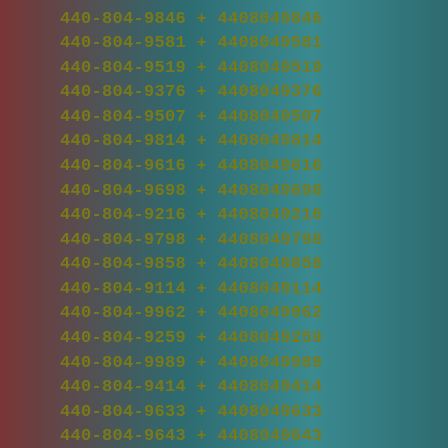440-804-9846  +  4408049846
440-804-9581  +  4408049581
440-804-9519  +  4408049519
440-804-9376  +  4408049376
440-804-9507  +  4408049507
440-804-9814  +  4408049814
440-804-9616  +  4408049616
440-804-9698  +  4408049698
440-804-9216  +  4408049216
440-804-9798  +  4408049798
440-804-9858  +  4408049858
440-804-9114  +  4408049114
440-804-9962  +  4408049962
440-804-9259  +  4408049259
440-804-9989  +  4408049989
440-804-9414  +  4408049414
440-804-9633  +  4408049633
440-804-9643  +  4408049643
440-804-9863  +  4408049863
440-804-9746  +  4408049746
440-804-9484  +  4408049484
440-804-9797  +  4408049797